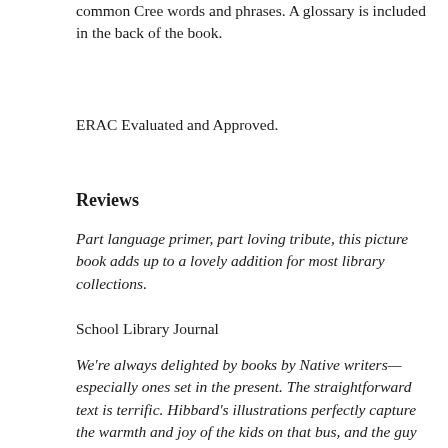common Cree words and phrases. A glossary is included in the back of the book.
ERAC Evaluated and Approved.
Reviews
Part language primer, part loving tribute, this picture book adds up to a lovely addition for most library collections.
School Library Journal
We're always delighted by books by Native writers—especially ones set in the present. The straightforward text is terrific. Hibbard's illustrations perfectly capture the warmth and joy of the kids on that bus, and the guy who drives their bus. I highly recommend Nimosôm and His Bus. (it'd be a